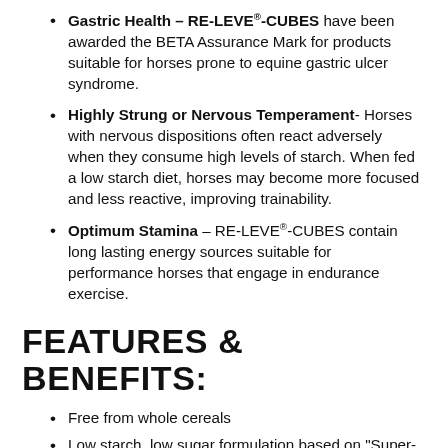Gastric Health – RE-LEVE®-CUBES have been awarded the BETA Assurance Mark for products suitable for horses prone to equine gastric ulcer syndrome.
Highly Strung or Nervous Temperament- Horses with nervous dispositions often react adversely when they consume high levels of starch. When fed a low starch diet, horses may become more focused and less reactive, improving trainability.
Optimum Stamina – RE-LEVE®-CUBES contain long lasting energy sources suitable for performance horses that engage in endurance exercise.
FEATURES & BENEFITS:
Free from whole cereals
Low starch, low sugar formulation based on "Super-Fibres" to support hindgut health
Live yeast for optimum fibre digestion and